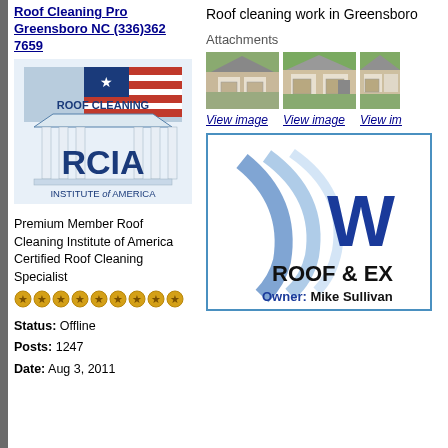Roof Cleaning Pro Greensboro NC (336)362 7659
[Figure (logo): RCIA - Roof Cleaning Institute of America logo with Greek temple and American flag]
Premium Member Roof Cleaning Institute of America Certified Roof Cleaning Specialist
[Figure (infographic): Row of 9 gold star/coin icons]
Status: Offline
Posts: 1247
Date: Aug 3, 2011
Roof cleaning work in Greensboro
Attachments
[Figure (photo): Three thumbnail photos of houses with roofs - before/after roof cleaning]
View image   View image   View im...
[Figure (logo): Partial logo: GW Roof & Ex... with Owner: Mike Sullivan]